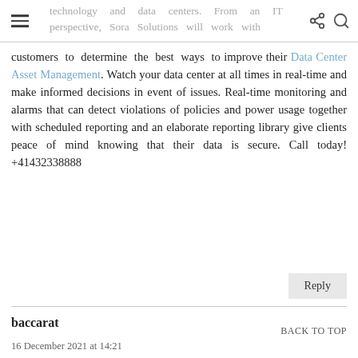technology and data centers. From an IT perspective, Sora Solutions will work with
customers to determine the best ways to improve their Data Center Asset Management. Watch your data center at all times in real-time and make informed decisions in event of issues. Real-time monitoring and alarms that can detect violations of policies and power usage together with scheduled reporting and an elaborate reporting library give clients peace of mind knowing that their data is secure. Call today! +41432338888
Reply
baccarat
BACK TO TOP
16 December 2021 at 14:21